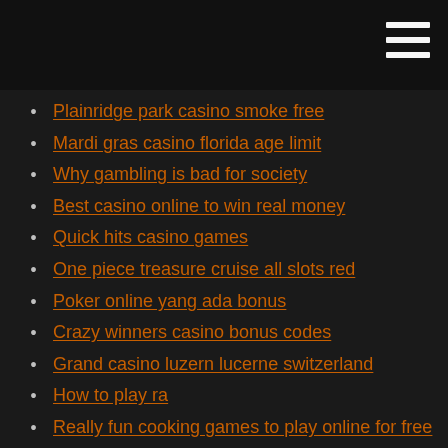Plainridge park casino smoke free
Mardi gras casino florida age limit
Why gambling is bad for society
Best casino online to win real money
Quick hits casino games
One piece treasure cruise all slots red
Poker online yang ada bonus
Crazy winners casino bonus codes
Grand casino luzern lucerne switzerland
How to play ra
Really fun cooking games to play online for free
Onde jogar poker no espirito santo
Marina bay sands casino entry fee
When did lucky dragon las vegas open